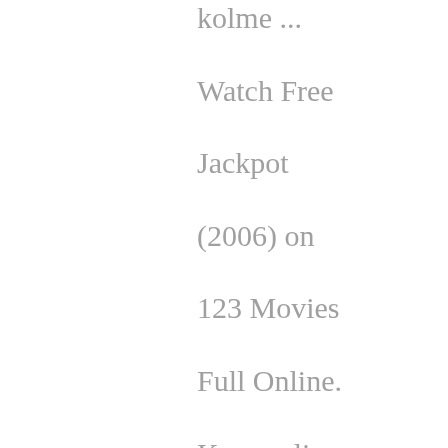kolme ... Watch Free Jackpot (2006) on 123 Movies Full Online. Kummelin Jackpot, was released in February 2006. It was about a divorced man portrayed by Silvennoinen, ... Kattavin